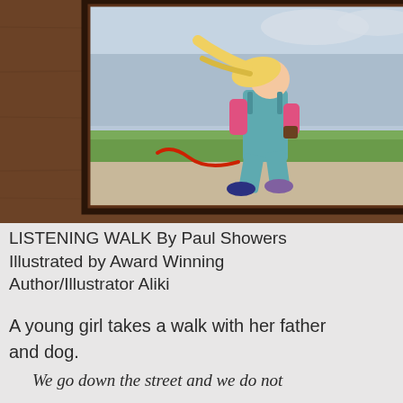[Figure (illustration): Book cover illustration showing a young girl with blonde hair walking, wearing teal overalls and a pink long-sleeve shirt, holding a red leash. Background shows green grass and grey sky. The image is framed in a dark wooden frame on a wooden surface.]
LISTENING WALK By Paul Showers Illustrated by Award Winning Author/Illustrator Aliki
A young girl takes a walk with her father and dog.
We go down the street and we do not